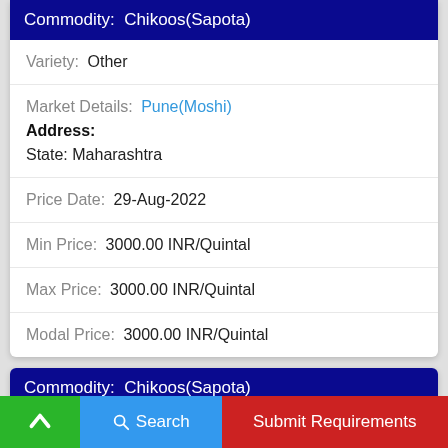Commodity:  Chikoos(Sapota)
Variety:  Other
Market Details:  Pune(Moshi)
Address:
State: Maharashtra
Price Date:  29-Aug-2022
Min Price:  3000.00 INR/Quintal
Max Price:  3000.00 INR/Quintal
Modal Price:  3000.00 INR/Quintal
Commodity:  Chikoos(Sapota)
Variety:  Other
Market Details:  Fatehabad
Address:
State: Haryana